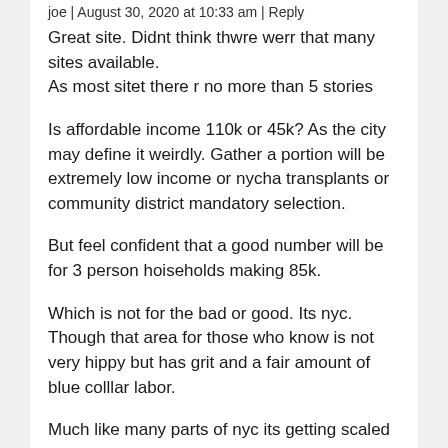joe | August 30, 2020 at 10:33 am | Reply
Great site. Didnt think thwre werr that many sites available.
As most sitet there r no more than 5 stories
Is affordable income 110k or 45k? As the city may define it weirdly. Gather a portion will be extremely low income or nycha transplants or community district mandatory selection.
But feel confident that a good number will be for 3 person hoiseholds making 85k.
Which is not for the bad or good. Its nyc. Though that area for those who know is not very hippy but has grit and a fair amount of blue colllar labor.
Much like many parts of nyc its getting scaled